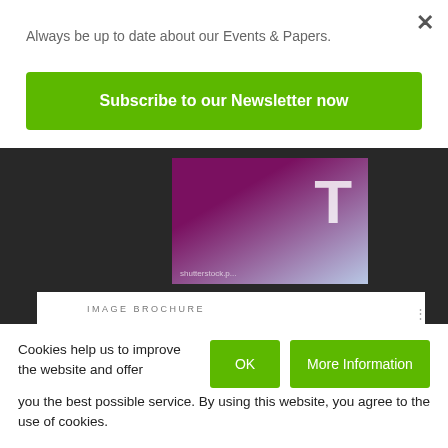Always be up to date about our Events & Papers.
Subscribe to our Newsletter now
[Figure (screenshot): Partial screenshot of a webpage showing an image brochure card with a shutterstock image thumbnail (purple/blue gradient with a large letter T) against a dark background. Card shows label 'IMAGE BROCHURE' and partial title 'shutterstock.premier: Pursuit of']
Cookies help us to improve the website and offer you the best possible service. By using this website, you agree to the use of cookies.
OK
More Information